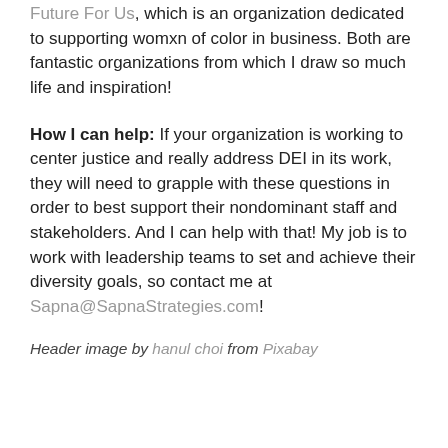Future For Us, which is an organization dedicated to supporting womxn of color in business. Both are fantastic organizations from which I draw so much life and inspiration!
How I can help: If your organization is working to center justice and really address DEI in its work, they will need to grapple with these questions in order to best support their nondominant staff and stakeholders. And I can help with that! My job is to work with leadership teams to set and achieve their diversity goals, so contact me at Sapna@SapnaStrategies.com!
Header image by hanul choi from Pixabay